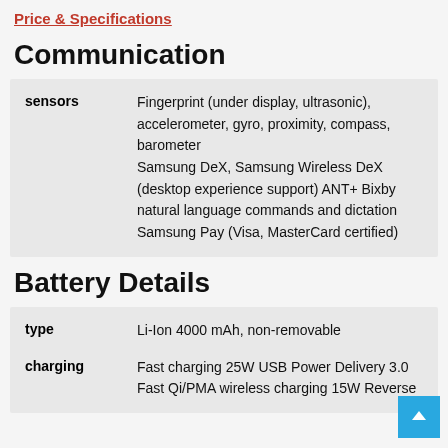Price & Specifications
Communication
|  |  |
| --- | --- |
| sensors | Fingerprint (under display, ultrasonic), accelerometer, gyro, proximity, compass, barometer
Samsung DeX, Samsung Wireless DeX (desktop experience support) ANT+ Bixby natural language commands and dictation
Samsung Pay (Visa, MasterCard certified) |
Battery Details
|  |  |
| --- | --- |
| type | Li-Ion 4000 mAh, non-removable |
| charging | Fast charging 25W USB Power Delivery 3.0
Fast Qi/PMA wireless charging 15W Reverse |